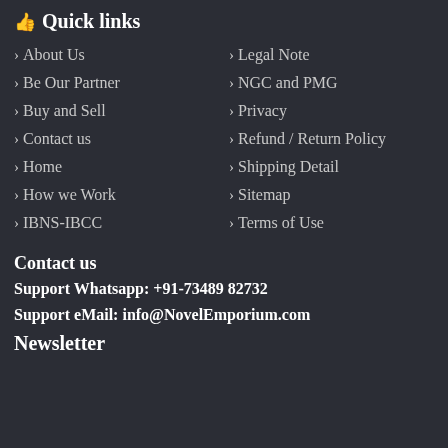👍 Quick links
> About Us
> Legal Note
> Be Our Partner
> NGC and PMG
> Buy and Sell
> Privacy
> Contact us
> Refund / Return Policy
> Home
> Shipping Detail
> How we Work
> Sitemap
> IBNS-IBCC
> Terms of Use
Contact us
Support Whatsapp: +91-73489 82732
Support eMail: info@NovelEmporium.com
Newsletter